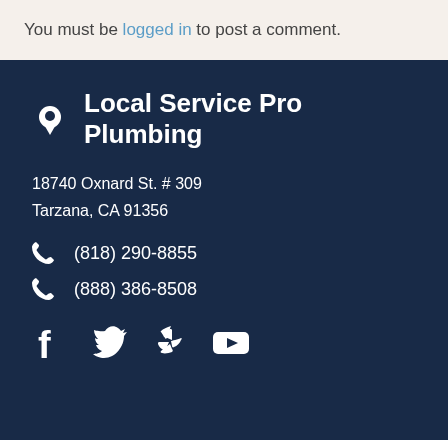You must be logged in to post a comment.
Local Service Pro Plumbing
18740 Oxnard St. # 309
Tarzana, CA 91356
(818) 290-8855
(888) 386-8508
[Figure (infographic): Social media icons: Facebook, Twitter, Yelp, YouTube]